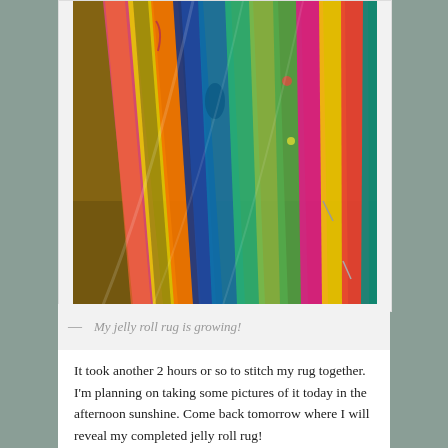[Figure (photo): Colorful jelly roll fabric strips fanned out, showing many vibrant patterned fabrics in blues, greens, pinks, oranges, yellows, and reds arranged in a fan/spiral pattern on a wooden surface.]
— My jelly roll rug is growing!
It took another 2 hours or so to stitch my rug together. I'm planning on taking some pictures of it today in the afternoon sunshine. Come back tomorrow where I will reveal my completed jelly roll rug!
You can purchase all the supplies to make a rug from your local quilt shop or from the Eat Quarter Shop. I got a small